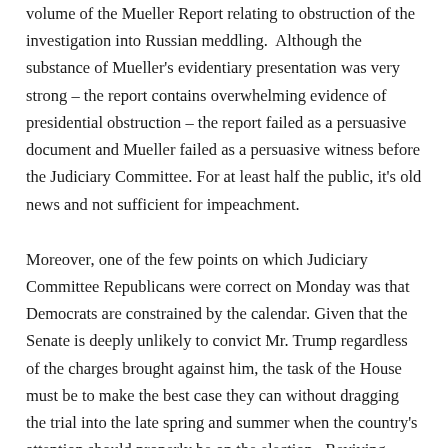volume of the Mueller Report relating to obstruction of the investigation into Russian meddling. Although the substance of Mueller's evidentiary presentation was very strong – the report contains overwhelming evidence of presidential obstruction – the report failed as a persuasive document and Mueller failed as a persuasive witness before the Judiciary Committee. For at least half the public, it's old news and not sufficient for impeachment.
Moreover, one of the few points on which Judiciary Committee Republicans were correct on Monday was that Democrats are constrained by the calendar. Given that the Senate is deeply unlikely to convict Mr. Trump regardless of the charges brought against him, the task of the House must be to make the best case they can without dragging the trial into the late spring and summer when the country's attention should properly be on the election. Reviving aspects of the Mueller Report as the centerpiece of a separate article